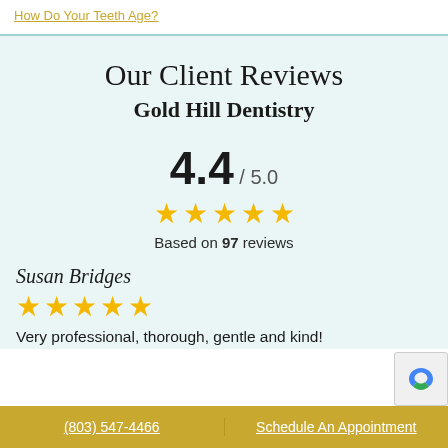How Do Your Teeth Age?
Our Client Reviews
Gold Hill Dentistry
4.4 / 5.0
Based on 97 reviews
Susan Bridges
Very professional, thorough, gentle and kind!
(803) 547-4466    Schedule An Appointment